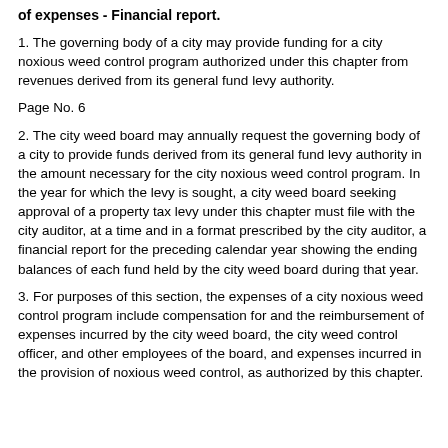of expenses - Financial report.
1. The governing body of a city may provide funding for a city noxious weed control program authorized under this chapter from revenues derived from its general fund levy authority.
Page No. 6
2. The city weed board may annually request the governing body of a city to provide funds derived from its general fund levy authority in the amount necessary for the city noxious weed control program. In the year for which the levy is sought, a city weed board seeking approval of a property tax levy under this chapter must file with the city auditor, at a time and in a format prescribed by the city auditor, a financial report for the preceding calendar year showing the ending balances of each fund held by the city weed board during that year.
3. For purposes of this section, the expenses of a city noxious weed control program include compensation for and the reimbursement of expenses incurred by the city weed board, the city weed control officer, and other employees of the board, and expenses incurred in the provision of noxious weed control, as authorized by this chapter.